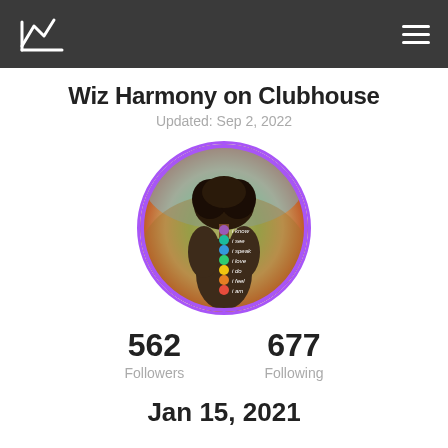Wiz Harmony on Clubhouse
Wiz Harmony on Clubhouse
Updated: Sep 2, 2022
[Figure (photo): Circular profile photo of a woman sitting with her back turned, with colorful chakra dots along her spine and text labels (i know, i see, i speak, i love, i do, i feel, i am). Background is a colorful nature-inspired painting. Purple border circle.]
562 Followers
677 Following
Jan 15, 2021